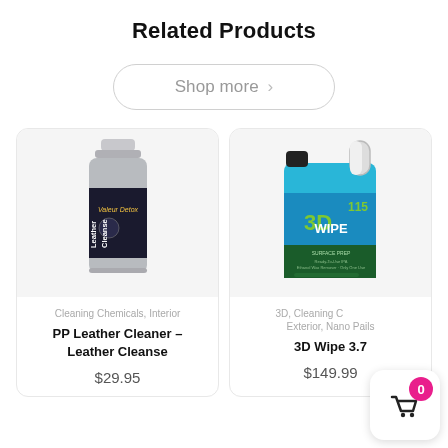Related Products
Shop more >
[Figure (photo): Product photo of PP Leather Cleaner – Leather Cleanse spray bottle with dark label]
Cleaning Chemicals, Interior
PP Leather Cleaner – Leather Cleanse
$29.95
[Figure (photo): Product photo of 3D Wipe 3.7 gallon blue jug container labeled 3D 115 WIPE]
3D, Cleaning Chemicals, Exterior, Nano Pails
3D Wipe 3.7
$149.99